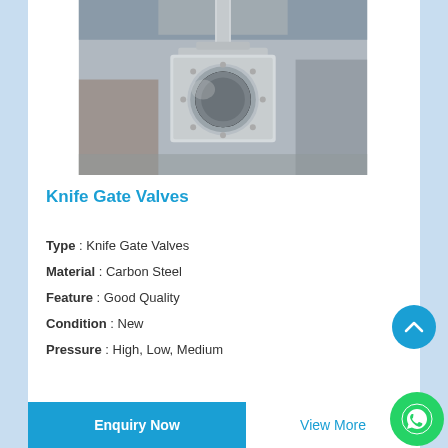[Figure (photo): A large knife gate valve photographed in an industrial warehouse. The valve is a circular flanged gate valve with a vertical stem/actuator rod on top, showing a large round bore opening. Stainless steel with a circular ring face flange.]
Knife Gate Valves
Type : Knife Gate Valves
Material : Carbon Steel
Feature : Good Quality
Condition : New
Pressure : High, Low, Medium
Enquiry Now
View More